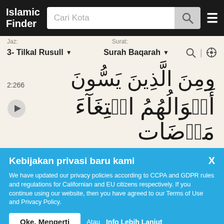Islamic Finder — Cari Kota
Jaz: Surat:
3- Tilkal Rusull ▼   Surah Baqarah ▼
[Figure (screenshot): Arabic text from Quran - verse 2:266 showing lines of Arabic script]
Kebijakan privasi baru kami
We have updated our privacy policies according to CCPA and GDPR rules and regulations for Californian and EU citizens respectively. If you continue using our website, then you have agreed to our Terms of Use and Privacy Policy.
Oke, Mengerti  Atau  Info Lebih Lanjut